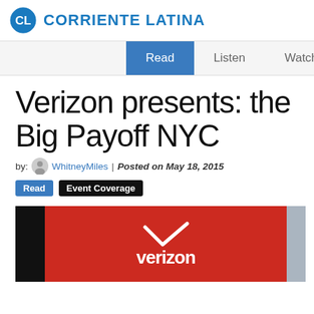CORRIENTE LATINA
Read | Listen | Watch
Verizon presents: the Big Payoff NYC
by: WhitneyMiles | Posted on May 18, 2015
Read   Event Coverage
[Figure (photo): Photo of a red Verizon banner/signage with the Verizon logo and checkmark, partially framed by dark background on the left and a light gray wall on the right.]